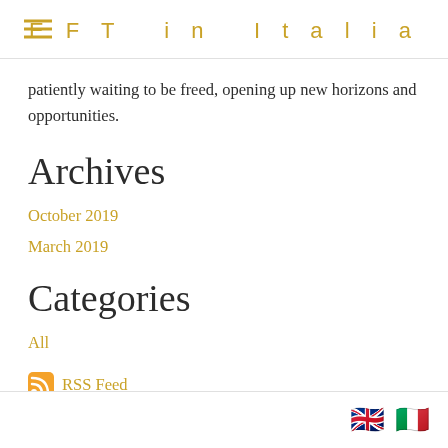EFT in Italia
patiently waiting to be freed, opening up new horizons and opportunities.
Archives
October 2019
March 2019
Categories
All
RSS Feed